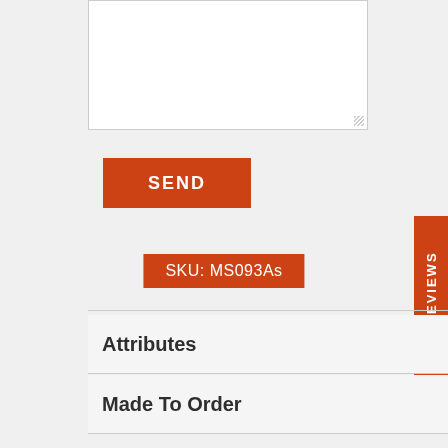[Figure (screenshot): White textarea input box with resize handle in bottom-right corner]
SEND
SKU: MS093As
Attributes
Made To Order
Description
Shipping & Returns
Installation
Certificate of Authenticity
★ REVIEWS